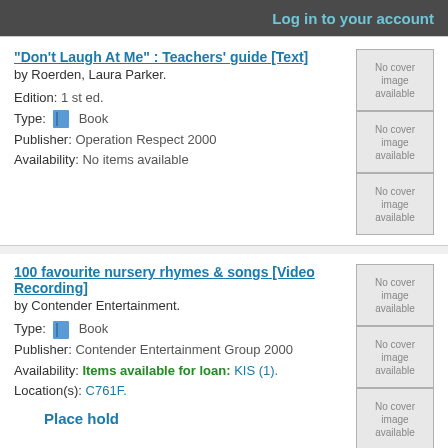Log in to your account
"Don't Laugh At Me" : Teachers' guide [Text]
by Roerden, Laura Parker.
Edition: 1 st ed.
Type: Book
Publisher: Operation Respect 2000
Availability: No items available
100 favourite nursery rhymes & songs [Video Recording]
by Contender Entertainment.
Type: Book
Publisher: Contender Entertainment Group 2000
Availability: Items available for loan: KIS (1).
Location(s): C761F.
Place hold
African playground [CD-ROM]
by Putumayo World Music.
Edition: 1st ed.